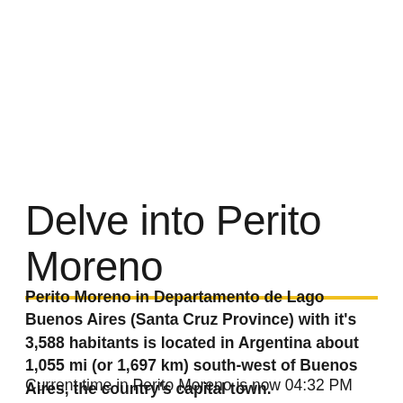Delve into Perito Moreno
Perito Moreno in Departamento de Lago Buenos Aires (Santa Cruz Province) with it's 3,588 habitants is located in Argentina about 1,055 mi (or 1,697 km) south-west of Buenos Aires, the country's capital town.
Current time in Perito Moreno is now 04:32 PM